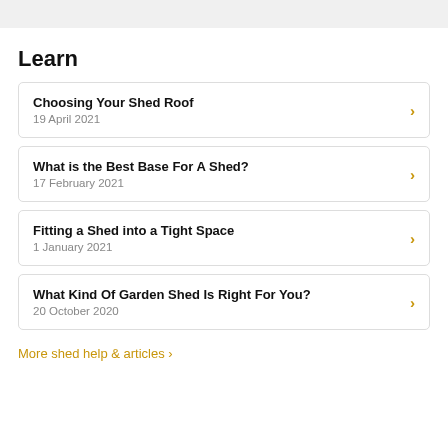Learn
Choosing Your Shed Roof
19 April 2021
What is the Best Base For A Shed?
17 February 2021
Fitting a Shed into a Tight Space
1 January 2021
What Kind Of Garden Shed Is Right For You?
20 October 2020
More shed help & articles >